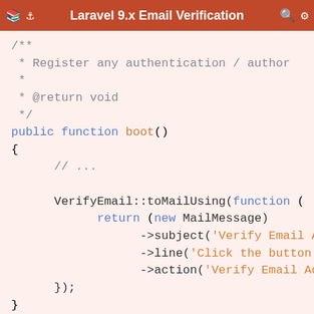Laravel 9.x Email Verification
/**
 * Register any authentication / author
 *
 * @return void
 */
public function boot()
{
        // ...

        VerifyEmail::toMailUsing(function (
                return (new MailMessage)
                        ->subject('Verify Email Add
                        ->line('Click the button be
                        ->action('Verify Email Addr
        });
}